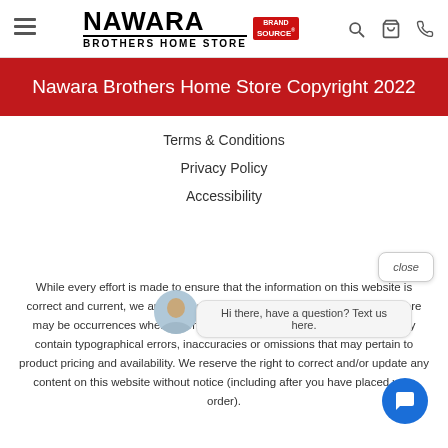Nawara Brothers Home Store — Brand Source
Nawara Brothers Home Store Copyright 2022
Terms & Conditions
Privacy Policy
Accessibility
While every effort is made to ensure that the information on this website is correct and current, we are not responsible for errors and/or omissions. There may be occurrences when information on our website or in our catalog may contain typographical errors, inaccuracies or omissions that may pertain to product pricing and availability. We reserve the right to correct and/or update any content on this website without notice (including after you have placed your order).